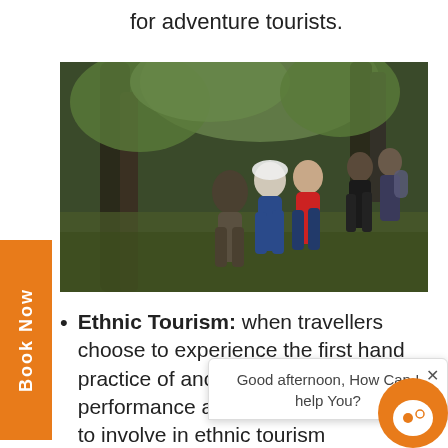for adventure tourists.
[Figure (photo): Group of hikers walking on a forest trail surrounded by trees and green vegetation.]
Ethnic Tourism: when travellers choose to experience the first hand practice of another culture with live performance and presentation, better to involve in ethnic tourism
Recreational Tourism: Tourism recreational purposes like campi... DJ music, parties and other